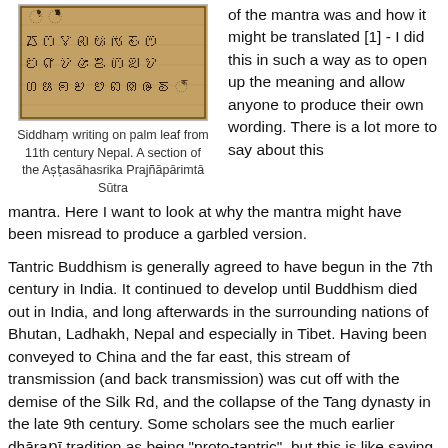[Figure (photo): Siddham writing on palm leaf manuscript with dark ink on aged brown background]
of the mantra was and how it might be translated [1] - I did this in such a way as to open up the meaning and allow anyone to produce their own wording. There is a lot more to say about this mantra. Here I want to look at why the mantra might have been misread to produce a garbled version.
Siddham writing on palm leaf from 11th century Nepal. A section of the Aṣṭasāhasrika Prajñāpārimtā Sūtra
Tantric Buddhism is generally agreed to have begun in the 7th century in India. It continued to develop until Buddhism died out in India, and long afterwards in the surrounding nations of Bhutan, Ladhakh, Nepal and especially in Tibet. Having been conveyed to China and the far east, this stream of transmission (and back transmission) was cut off with the demise of the Silk Rd, and the collapse of the Tang dynasty in the late 9th century. Some scholars see the much earlier dhāraṇī tradition as being "proto-tantric", but this is like saying that flour is proto-cake.